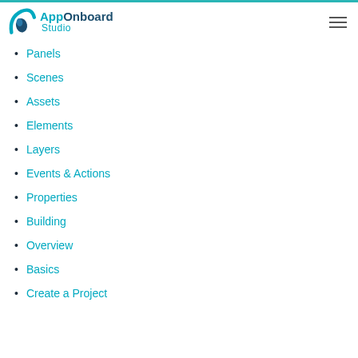AppOnboard Studio
Panels
Scenes
Assets
Elements
Layers
Events & Actions
Properties
Building
Overview
Basics
Create a Project